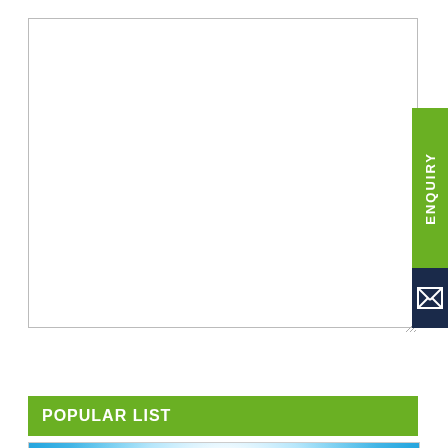[Figure (other): Empty textarea input box with resize handle in bottom-right corner]
[Figure (other): Enquiry vertical tab on the right side: green section with rotated 'ENQUIRY' text, dark navy section with envelope/mail icon (X symbol in box)]
Post Comment
POPULAR LIST
[Figure (photo): Blue sky with bright white light from above and clouds at the bottom, with a green circle containing double chevron (up arrows) at the bottom center]